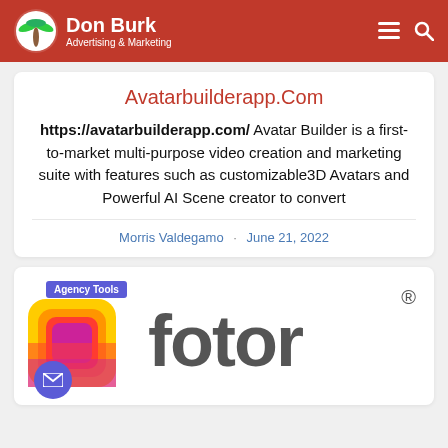Don Burk Advertising & Marketing
Avatarbuilderapp.Com
https://avatarbuilderapp.com/ Avatar Builder is a first-to-market multi-purpose video creation and marketing suite with features such as customizable3D Avatars and Powerful AI Scene creator to convert
Morris Valdegamo · June 21, 2022
[Figure (logo): Fotor app logo with 'Agency Tools' badge and email button overlay, followed by the Fotor wordmark with registered trademark symbol]